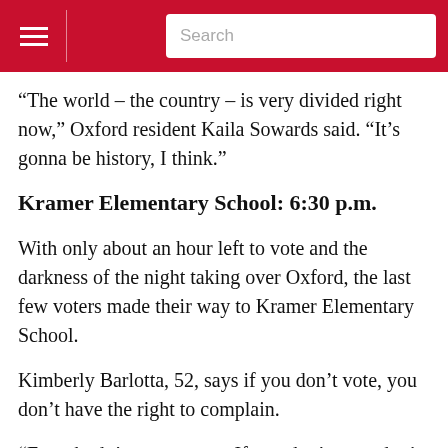Search
“The world – the country – is very divided right now,” Oxford resident Kaila Sowards said. “It’s gonna be history, I think.”
Kramer Elementary School: 6:30 p.m.
With only about an hour left to vote and the darkness of the night taking over Oxford, the last few voters made their way to Kramer Elementary School.
Kimberly Barlotta, 52, says if you don’t vote, you don’t have the right to complain.
“Everybody’s vote counts. If you don’t vote, don’t complain,” she said. “There was a five-year period [when I lived in] Florida when I didn’t vote. I